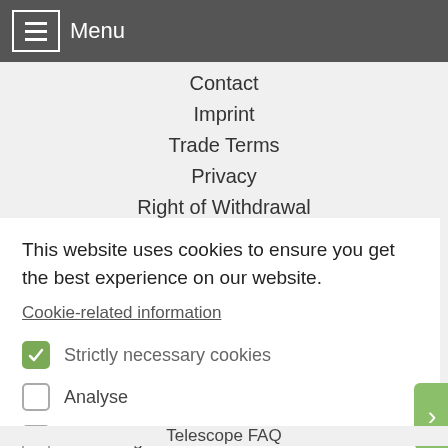Menu
Contact
Imprint
Trade Terms
Privacy
Right of Withdrawal
Cookies
This website uses cookies to ensure you get the best experience on our website.
Cookie-related information
Strictly necessary cookies
Analyse
Marketing
Accept all
Save
Telescope FAQ